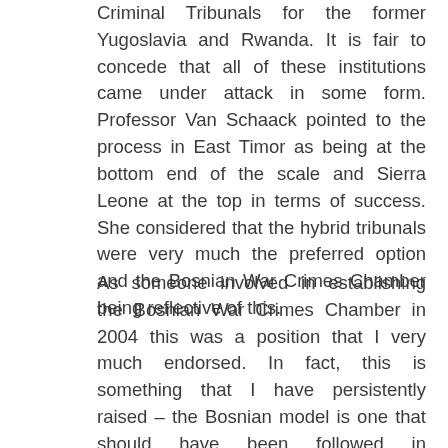Criminal Tribunals for the former Yugoslavia and Rwanda. It is fair to concede that all of these institutions came under attack in some form. Professor Van Schaack pointed to the process in East Timor as being at the bottom end of the scale and Sierra Leone at the top in terms of success. She considered that the hybrid tribunals were very much the preferred option and the Bosnian War Crimes Chamber being reflective of this.
As someone involved in establishing the Bosnian War Crimes Chamber in 2004 this was a position that I very much endorsed. In fact, this is something that I have persistently raised – the Bosnian model is one that should have been followed in Bangladesh. Local judges and prosecutors working alongside international experts. However, as Professor Van Schaack